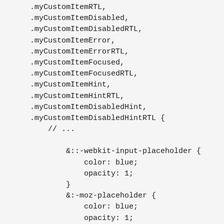.myCustomItemRTL,
.myCustomItemDisabled,
.myCustomItemDisabledRTL,
.myCustomItemError,
.myCustomItemErrorRTL,
.myCustomItemFocused,
.myCustomItemFocusedRTL,
.myCustomItemHint,
.myCustomItemHintRTL,
.myCustomItemDisabledHint,
.myCustomItemDisabledHintRTL {
    // ...

        &::-webkit-input-placeholder {
            color: blue;
            opacity: 1;
        }
        &:-moz-placeholder {
            color: blue;
            opacity: 1;
        }